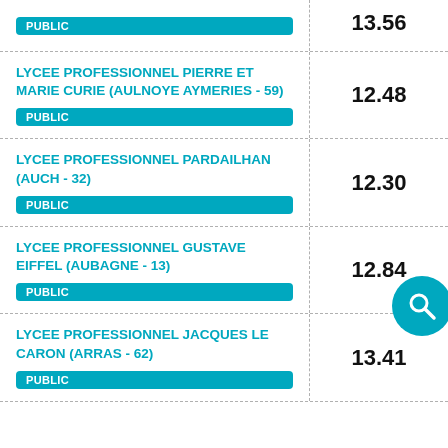| Établissement | Score |
| --- | --- |
| (partial row) | 13.56 |
| LYCEE PROFESSIONNEL PIERRE ET MARIE CURIE (AULNOYE AYMERIES - 59)
PUBLIC | 12.48 |
| LYCEE PROFESSIONNEL PARDAILHAN (AUCH - 32)
PUBLIC | 12.30 |
| LYCEE PROFESSIONNEL GUSTAVE EIFFEL (AUBAGNE - 13)
PUBLIC | 12.84 |
| LYCEE PROFESSIONNEL JACQUES LE CARON (ARRAS - 62)
PUBLIC | 13.41 |